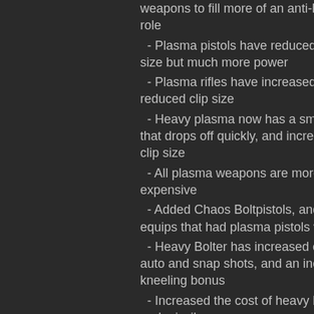weapons to fill more of an anti-heavy infantry role
- Plasma pistols have reduced range and clip size but much more power
- Plasma rifles have increased power but reduced clip size
- Heavy plasma now has a small AoE radius that drops off quickly, and increased range and clip size
- All plasma weapons are more rare and expensive
- Added Chaos Boltpistols, and replaced some equips that had plasma pistols with them
- Heavy Bolter has increased clip sizes, faster auto and snap shots, and an increased kneeling bonus
- Increased the cost of heavy bolter ammo and missiles
- Reduced the cost of krak grenades slightly